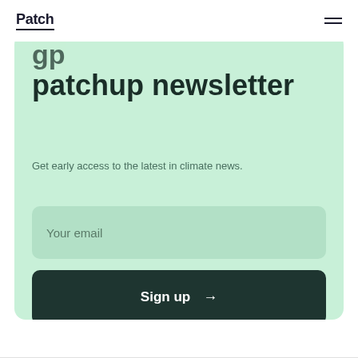Patch
patchup newsletter
Get early access to the latest in climate news.
Your email
Sign up →